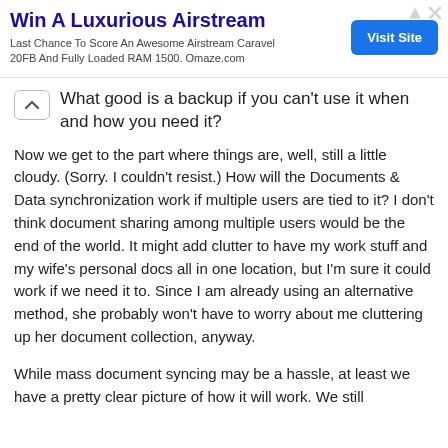[Figure (other): Advertisement banner: 'Win A Luxurious Airstream' with subtitle 'Last Chance To Score An Awesome Airstream Caravel 20FB And Fully Loaded RAM 1500. Omaze.com' and a blue 'Visit Site' button.]
What good is a backup if you can't use it when and how you need it?
Now we get to the part where things are, well, still a little cloudy. (Sorry. I couldn't resist.) How will the Documents & Data synchronization work if multiple users are tied to it? I don't think document sharing among multiple users would be the end of the world. It might add clutter to have my work stuff and my wife's personal docs all in one location, but I'm sure it could work if we need it to. Since I am already using an alternative method, she probably won't have to worry about me cluttering up her document collection, anyway.
While mass document syncing may be a hassle, at least we have a pretty clear picture of how it will work. We still